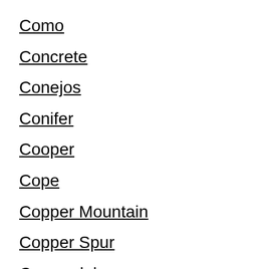Como
Concrete
Conejos
Conifer
Cooper
Cope
Copper Mountain
Copper Spur
Copperdale
Cordova Plaza